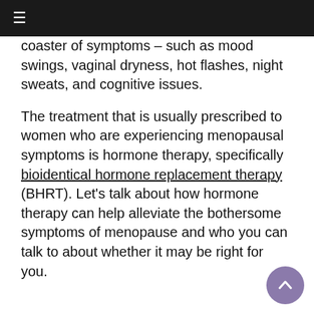≡
coaster of symptoms – such as mood swings, vaginal dryness, hot flashes, night sweats, and cognitive issues.
The treatment that is usually prescribed to women who are experiencing menopausal symptoms is hormone therapy, specifically bioidentical hormone replacement therapy (BHRT). Let's talk about how hormone therapy can help alleviate the bothersome symptoms of menopause and who you can talk to about whether it may be right for you.